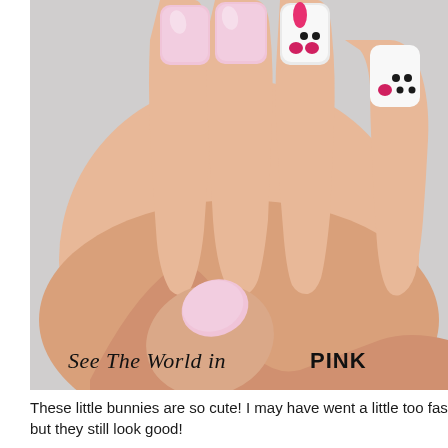[Figure (photo): Close-up photo of a hand with pink nail polish on most nails and two accent nails painted white with Easter bunny nail art — pink tear-drop shaped bunny ears and black/pink dots forming a bunny face. A watermark reading 'See The World in PINK' is overlaid in the lower left of the image.]
These little bunnies are so cute! I may have went a little too fas but they still look good!